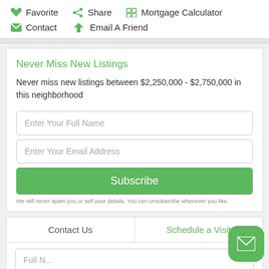Favorite
Share
Mortgage Calculator
Contact
Email A Friend
Never Miss New Listings
Never miss new listings between $2,250,000 - $2,750,000 in this neighborhood
Enter Your Full Name
Enter Your Email Address
Subscribe
We will never spam you or sell your details. You can unsubscribe whenever you like.
Contact Us
Schedule a Visit
Full N...